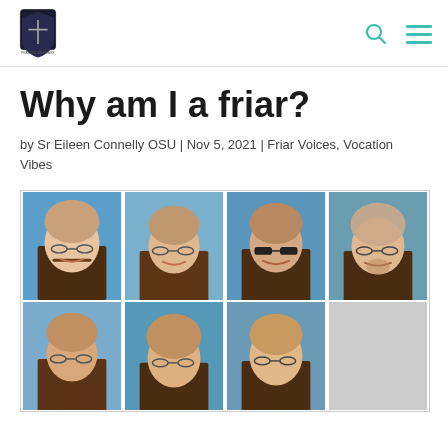Franciscan Friars logo, search icon, menu icon
Why am I a friar?
by Sr Eileen Connelly OSU | Nov 5, 2021 | Friar Voices, Vocation Vibes
[Figure (photo): A grid of headshot photos of Franciscan Friars — six or seven older men wearing brown habits, most wearing glasses, against a blue background. Arranged in two rows.]